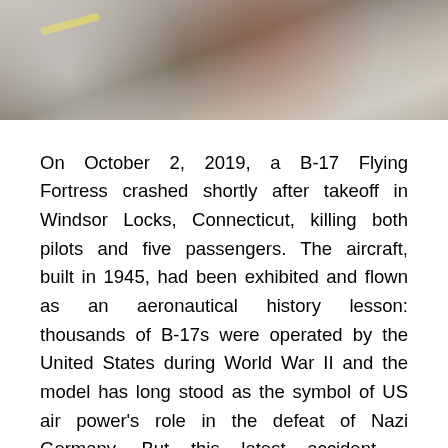[Figure (photo): Aerial photograph of B-17 Flying Fortress crash debris scattered on ground, showing wreckage and emergency personnel]
On October 2, 2019, a B-17 Flying Fortress crashed shortly after takeoff in Windsor Locks, Connecticut, killing both pilots and five passengers. The aircraft, built in 1945, had been exhibited and flown as an aeronautical history lesson: thousands of B-17s were operated by the United States during World War II and the model has long stood as the symbol of US air power's role in the defeat of Nazi Germany. But this latest accident – numerous other surviving planes of the era have been destroyed in fatal mishaps, sometimes in view of air show spectators – revives questions about how much longer 80- or 90-year-old machines should be authorized to get off the ground. Are the restorations worth the risk?